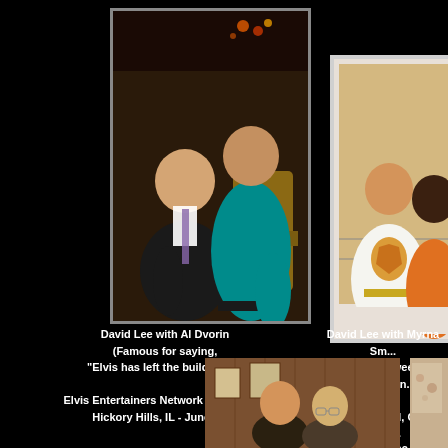[Figure (photo): Photo of David Lee with Al Dvorin, two men posing together indoors, one in a teal shirt and one in a dark suit with tie]
[Figure (photo): Photo of David Lee with Myrna Smith of the Sweet Inspirations, man in white Elvis jumpsuit with tiger emblem posing with a woman in orange]
David Lee with Al Dvorin
(Famous for saying,
"Elvis has left the building...")

Elvis Entertainers Network Convention
Hickory Hills, IL - June 2001
David Lee with Myrna Sm...
(of the Sweet Inspiration...

Collingwood, ONT Cana...
July 2002
[Figure (photo): Photo of two men posing together in a wood-paneled room with pictures on the wall]